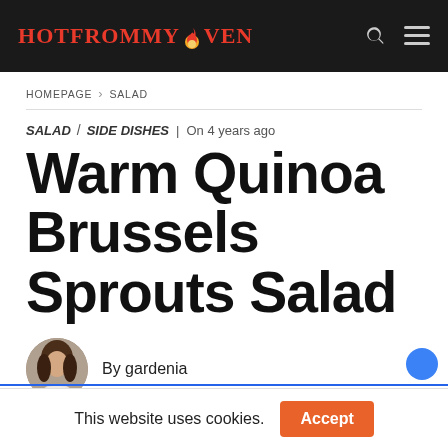HotFromMyOven
HOMEPAGE > SALAD
SALAD / SIDE DISHES | On 4 years ago
Warm Quinoa Brussels Sprouts Salad
By gardenia
This website uses cookies. Accept